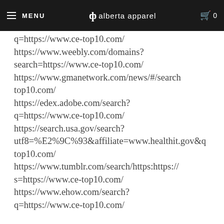MENU | alberta apparel | 0
q=https://www.ce-top10.com/
https://www.weebly.com/domains? search=https://www.ce-top10.com/
https://www.gmanetwork.com/news/#/search top10.com/
https://edex.adobe.com/search? q=https://www.ce-top10.com/
https://search.usa.gov/search? utf8=%E2%9C%93&affiliate=www.healthit.gov&q top10.com/
https://www.tumblr.com/search/https:https:// s=https://www.ce-top10.com/
https://www.ehow.com/search? q=https://www.ce-top10.com/